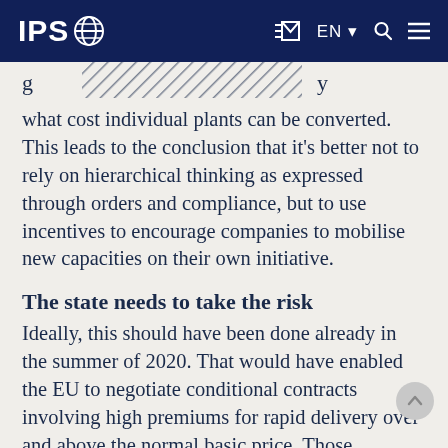IPS [globe logo] | EN | Q | menu
[Figure (other): Partially visible image with diagonal striped pattern at top of content area]
what cost individual plants can be converted. This leads to the conclusion that it's better not to rely on hierarchical thinking as expressed through orders and compliance, but to use incentives to encourage companies to mobilise new capacities on their own initiative.
The state needs to take the risk
Ideally, this should have been done already in the summer of 2020. That would have enabled the EU to negotiate conditional contracts involving high premiums for rapid delivery over and above the normal basic price. Those